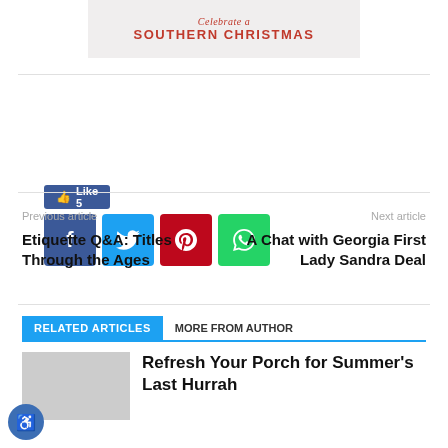[Figure (illustration): Banner image for 'Celebrate a Southern Christmas' with script and bold red text on light background]
[Figure (infographic): Facebook Like button showing 'Like 5' in blue, followed by a row of social share icons: Facebook (dark blue), Twitter (light blue), Pinterest (red), WhatsApp (green)]
Previous article
Next article
Etiquette Q&A: Titles Through the Ages
A Chat with Georgia First Lady Sandra Deal
RELATED ARTICLES
MORE FROM AUTHOR
Refresh Your Porch for Summer's Last Hurrah